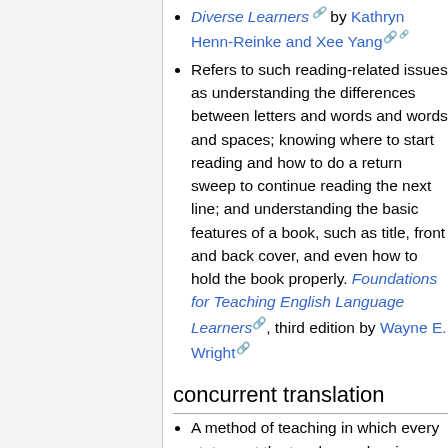Diverse Learners by Kathryn Henn-Reinke and Xee Yang
Refers to such reading-related issues as understanding the differences between letters and words and words and spaces; knowing where to start reading and how to do a return sweep to continue reading the next line; and understanding the basic features of a book, such as title, front and back cover, and even how to hold the book properly. Foundations for Teaching English Language Learners, third edition by Wayne E. Wright
concurrent translation
A method of teaching in which every statement the teacher makes is...